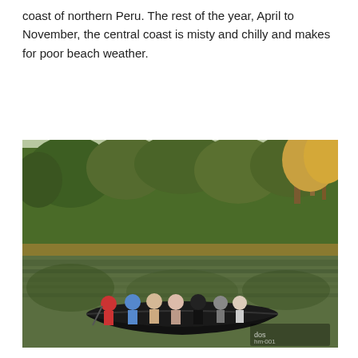coast of northern Peru. The rest of the year, April to November, the central coast is misty and chilly and makes for poor beach weather.
[Figure (photo): People riding in a long dark wooden canoe on a calm Amazonian river in Peru, surrounded by lush tropical rainforest reflected in the water. A group of tourists and a guide are seated in the boat. Social media icons (Facebook, Twitter, Pinterest, Instagram, Phone) are overlaid on the right side of the image.]